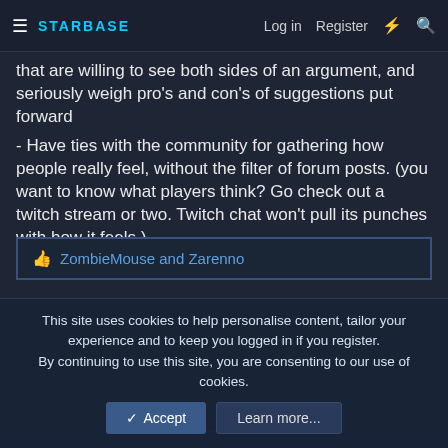STARBASE | Log in | Register
that are willing to see both sides of an argument, and seriously weigh pro's and con's of suggestions put forward
- Have ties with the community for gathering how people really feel, without the filter of forum posts. (you want to know what players think? Go check out a twitch stream or two. Twitch chat won't pull its punches with how it feels.)
ZombieMouse and Zarenno
Recatek
This site uses cookies to help personalise content, tailor your experience and to keep you logged in if you register.
By continuing to use this site, you are consenting to our use of cookies.